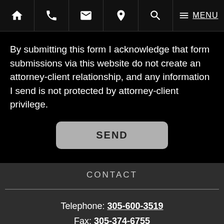Navigation bar with icons: Home, Phone, Email, Location, Search, Menu
By submitting this form I acknowledge that form submissions via this website do not create an attorney-client relationship, and any information I send is not protected by attorney-client privilege.
SEND
CONTACT
Telephone: 305-600-3519
Fax: 305-374-6755
LOCATION
2850 Tigertail Avenue, Suite 400